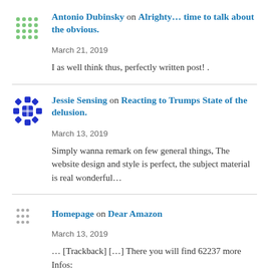[Figure (illustration): Green dot-grid avatar icon for Antonio Dubinsky]
Antonio Dubinsky on Alrighty… time to talk about the obvious.
March 21, 2019
I as well think thus, perfectly written post! .
[Figure (illustration): Blue snowflake avatar icon for Jessie Sensing]
Jessie Sensing on Reacting to Trumps State of the delusion.
March 13, 2019
Simply wanna remark on few general things, The website design and style is perfect, the subject material is real wonderful…
[Figure (illustration): Small grey dot avatar icon for Homepage]
Homepage on Dear Amazon
March 13, 2019
… [Trackback] […] There you will find 62237 more Infos: